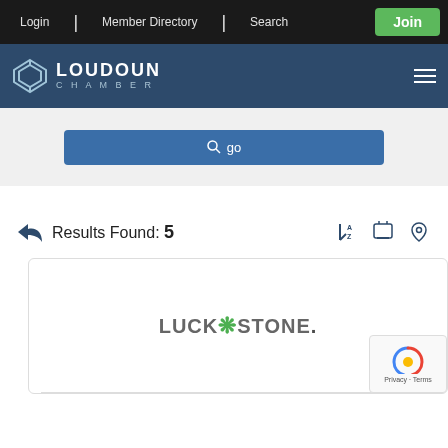Login | Member Directory | Search | Join
[Figure (logo): Loudoun Chamber logo with diamond icon and text LOUDOUN CHAMBER]
[Figure (screenshot): Search bar with magnifying glass icon and 'go' text on blue button]
Results Found: 5
[Figure (logo): Luckstone company logo with clover icon between LUCK and STONE text]